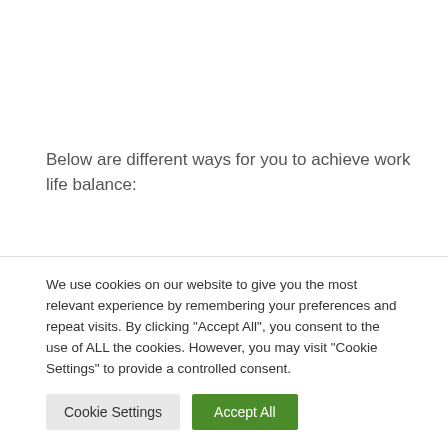Below are different ways for you to achieve work life balance:
Leave work at work.
We use cookies on our website to give you the most relevant experience by remembering your preferences and repeat visits. By clicking "Accept All", you consent to the use of ALL the cookies. However, you may visit "Cookie Settings" to provide a controlled consent.